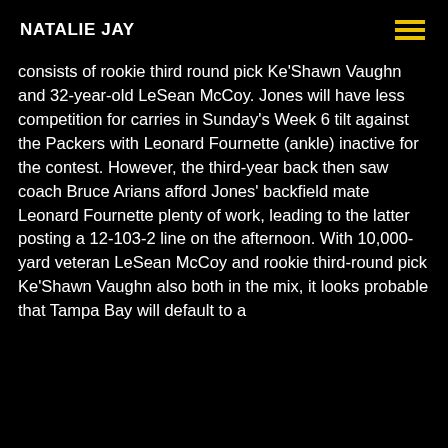NATALIE JAY
consists of rookie third round pick Ke'Shawn Vaughn and 32-year-old LeSean McCoy. Jones will have less competition for carries in Sunday's Week 6 tilt against the Packers with Leonard Fournette (ankle) inactive for the contest. However, the third-year back then saw coach Bruce Arians afford Jones' backfield mate Leonard Fournette plenty of work, leading to the latter posting a 12-103-2 line on the afternoon. With 10,000-yard veteran LeSean McCoy and rookie third-round pick Ke'Shawn Vaughn also both in the mix, it looks probable that Tampa Bay will default to a